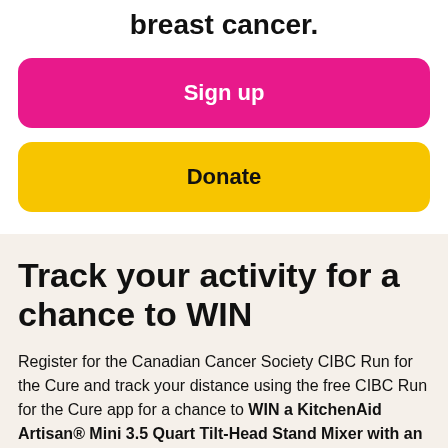breast cancer.
Sign up
Donate
Track your activity for a chance to WIN
Register for the Canadian Cancer Society CIBC Run for the Cure and track your distance using the free CIBC Run for the Cure app for a chance to WIN a KitchenAid Artisan® Mini 3.5 Quart Tilt-Head Stand Mixer with an estimated value of